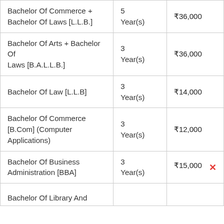| Course | Duration | Fee |
| --- | --- | --- |
| Bachelor Of Commerce + Bachelor Of Laws [L.L.B.] | 5 Year(s) | ₹36,000 |
| Bachelor Of Arts + Bachelor Of Laws [B.A.L.L.B.] | 3 Year(s) | ₹36,000 |
| Bachelor Of Law [L.L.B] | 3 Year(s) | ₹14,000 |
| Bachelor Of Commerce [B.Com] (Computer Applications) | 3 Year(s) | ₹12,000 |
| Bachelor Of Business Administration [BBA] | 3 Year(s) | ₹15,000 |
| Bachelor Of Library And... |  |  |